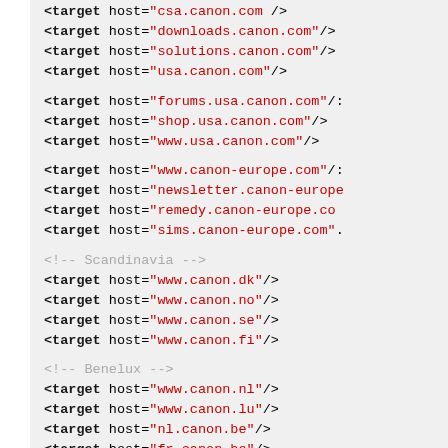XML/config code block showing target host entries for canon.com domains grouped by region (USA, Europe, Scandinavia, Benelux, Europe)